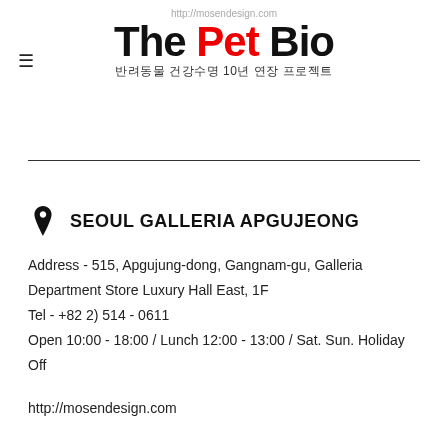http://mosendesign.com
The Pet Bio
반려동물 건강수명 10년 연장 프로젝트
SEOUL GALLERIA APGUJEONG
Address - 515, Apgujung-dong, Gangnam-gu, Galleria Department Store Luxury Hall East, 1F
Tel - +82 2) 514 - 0611
Open 10:00 - 18:00 / Lunch 12:00 - 13:00 / Sat. Sun. Holiday Off
http://mosendesign.com